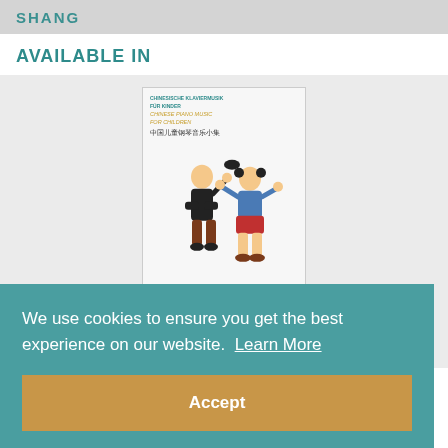SHANG
AVAILABLE IN
[Figure (illustration): Book cover of Chinese Piano Music for Children (Schott edition) showing two cartoon children dancing, with Chinese and German/English title text at top and Schott logo at bottom.]
Chinese Piano Music for Children (Schott)
$19.29
We use cookies to ensure you get the best experience on our website.  Learn More
Accept